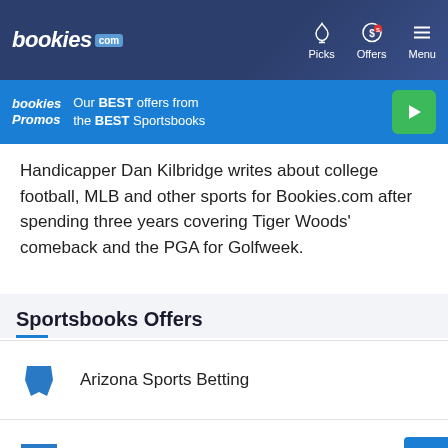bookies.com | Picks | Offers | Menu
[Figure (infographic): Bookies Promos banner: Our BEST offers from the BEST Sportsbooks with a green play button]
Handicapper Dan Kilbridge writes about college football, MLB and other sports for Bookies.com after spending three years covering Tiger Woods' comeback and the PGA for Golfweek.
Sportsbooks Offers
Arizona Sports Betting
Colorado Sports Betting
Connecticut Sports Betting